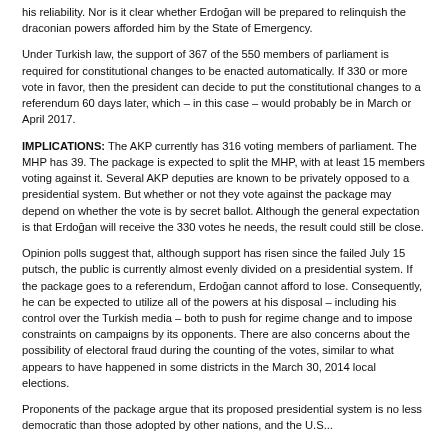his reliability. Nor is it clear whether Erdoğan will be prepared to relinquish the draconian powers afforded him by the State of Emergency.
Under Turkish law, the support of 367 of the 550 members of parliament is required for constitutional changes to be enacted automatically. If 330 or more vote in favor, then the president can decide to put the constitutional changes to a referendum 60 days later, which – in this case – would probably be in March or April 2017.
IMPLICATIONS: The AKP currently has 316 voting members of parliament. The MHP has 39. The package is expected to split the MHP, with at least 15 members voting against it. Several AKP deputies are known to be privately opposed to a presidential system. But whether or not they vote against the package may depend on whether the vote is by secret ballot. Although the general expectation is that Erdoğan will receive the 330 votes he needs, the result could still be close.
Opinion polls suggest that, although support has risen since the failed July 15 putsch, the public is currently almost evenly divided on a presidential system. If the package goes to a referendum, Erdoğan cannot afford to lose. Consequently, he can be expected to utilize all of the powers at his disposal – including his control over the Turkish media – both to push for regime change and to impose constraints on campaigns by its opponents. There are also concerns about the possibility of electoral fraud during the counting of the votes, similar to what appears to have happened in some districts in the March 30, 2014 local elections.
Proponents of the package argue that its proposed presidential system is no less democratic than those adopted by other nations, and the U.S...